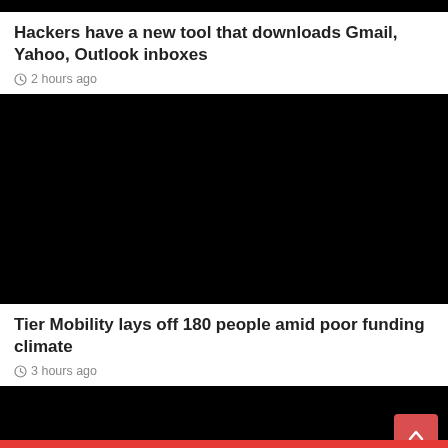[Figure (photo): Black image at top (partial, cropped)]
Hackers have a new tool that downloads Gmail, Yahoo, Outlook inboxes
2 hours ago
[Figure (photo): Large black image placeholder]
Tier Mobility lays off 180 people amid poor funding climate
3 hours ago
[Figure (photo): Black image at bottom (partial, cropped)]